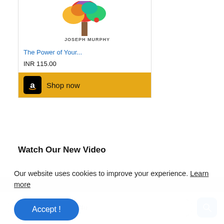[Figure (other): Amazon advertisement card showing a book 'The Power of Your...' by Joseph Murphy with a colorful tree illustration, priced at INR 115.00 with a Shop now button]
The Power of Your...
INR 115.00
Shop now
Watch Our New Video
Search biologyexams4u
Our website uses cookies to improve your experience. Learn more
Accept !